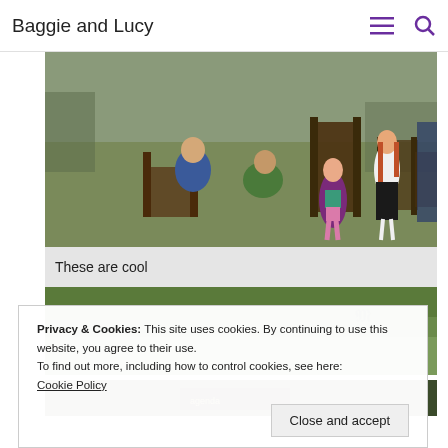Baggie and Lucy
[Figure (photo): Children and adults outdoors on grass with wooden chairs/furniture scattered around. A young girl in purple cardigan and pink shorts stands in the center, another girl in white top and black skirt is to the right, a boy in blue jacket sits on a wooden chair on the left, and adults are visible in the background.]
These are cool
[Figure (photo): Green grass field outdoors with a partial figure visible in the distance.]
[Figure (photo): Partial view of a dark background with a sign partially visible.]
Privacy & Cookies: This site uses cookies. By continuing to use this website, you agree to their use.
To find out more, including how to control cookies, see here:
Cookie Policy
Close and accept